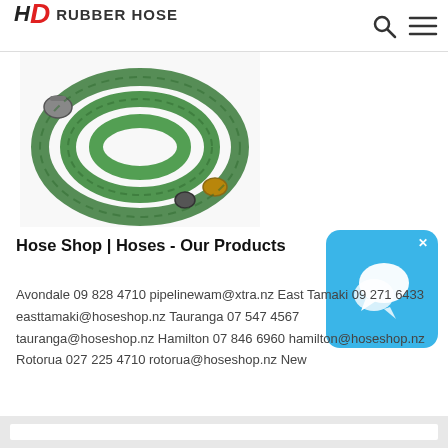HD RUBBER HOSE
[Figure (photo): Coiled green rubber hose with brass and black fittings on white background]
Hose Shop | Hoses - Our Products
Avondale 09 828 4710 pipelinewam@xtra.nz East Tamaki 09 271 6433 easttamaki@hoseshop.nz Tauranga 07 547 4567 tauranga@hoseshop.nz Hamilton 07 846 6960 hamilton@hoseshop.nz Rotorua 027 225 4710 rotorua@hoseshop.nz New